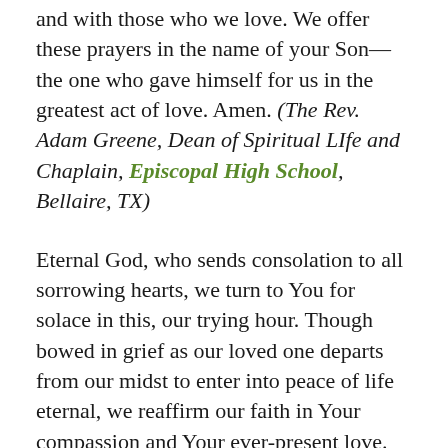and with those who we love. We offer these prayers in the name of your Son—the one who gave himself for us in the greatest act of love. Amen. (The Rev. Adam Greene, Dean of Spiritual LIfe and Chaplain, Episcopal High School, Bellaire, TX)
Eternal God, who sends consolation to all sorrowing hearts, we turn to You for solace in this, our trying hour. Though bowed in grief as our loved one departs from our midst to enter into peace of life eternal, we reaffirm our faith in Your compassion and Your ever-present love. May we bear our sorrow with trustful hearts, and knowing